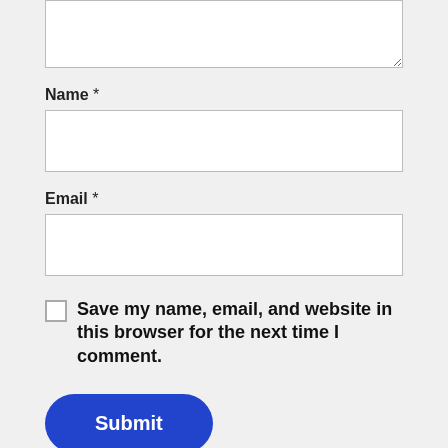Name *
Email *
Save my name, email, and website in this browser for the next time I comment.
Submit
[Figure (illustration): Colorful house illustration with trees]
Everything You Need To
[Figure (illustration): Delivery truck with speed lines illustration]
Free UK Delivery As